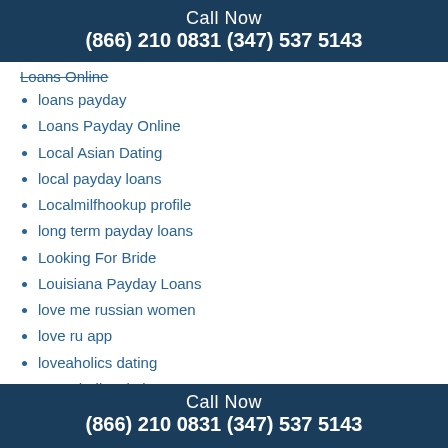Call Now
(866) 210 0831 (347) 537 5143
Loans Online
loans payday
Loans Payday Online
Local Asian Dating
local payday loans
Localmilfhookup profile
long term payday loans
Looking For Bride
Louisiana Payday Loans
love me russian women
love ru app
loveaholics dating
Loveaholics dating apps
LoveAndSeek dating
Loveandseek sign up
lovescout-24.de app
lovescout-24.de Verwandte Website
Call Now
(866) 210 0831 (347) 537 5143